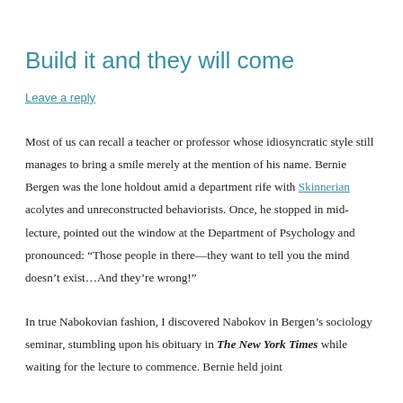Build it and they will come
Leave a reply
Most of us can recall a teacher or professor whose idiosyncratic style still manages to bring a smile merely at the mention of his name. Bernie Bergen was the lone holdout amid a department rife with Skinnerian acolytes and unreconstructed behaviorists. Once, he stopped in mid-lecture, pointed out the window at the Department of Psychology and pronounced: “Those people in there—they want to tell you the mind doesn’t exist…And they’re wrong!”
In true Nabokovian fashion, I discovered Nabokov in Bergen’s sociology seminar, stumbling upon his obituary in The New York Times while waiting for the lecture to commence. Bernie held joint